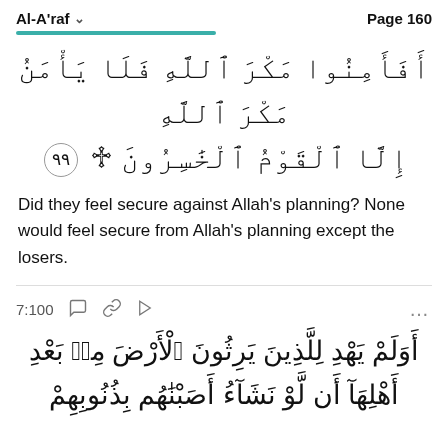Al-A'raf   Page 160
أَفَأَمِنُوا مَكْرَ اللَّهِ فَلَا يَأْمَنُ مَكْرَ اللَّهِ إِلَّا الْقَوْمُ الْخَاسِرُونَ ۝٩٩
Did they feel secure against Allah's planning? None would feel secure from Allah's planning except the losers.
7:100
أَوَلَمْ يَهْدِ لِلَّذِينَ يَرِثُونَ الْأَرْضَ مِنۢ بَعْدِ